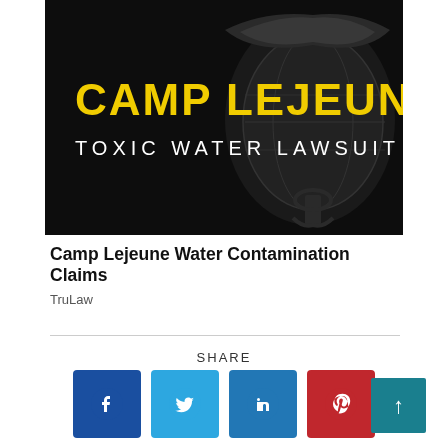[Figure (illustration): Dark background image with Marine Corps Eagle Globe and Anchor emblem. Yellow bold text reads 'CAMP LEJEUNE' and white text reads 'TOXIC WATER LAWSUIT'.]
Camp Lejeune Water Contamination Claims
TruLaw
SHARE
[Figure (infographic): Social share buttons: Facebook (dark blue), Twitter (light blue), LinkedIn (medium blue), Pinterest (red), and a teal scroll-to-top button with an upward arrow.]